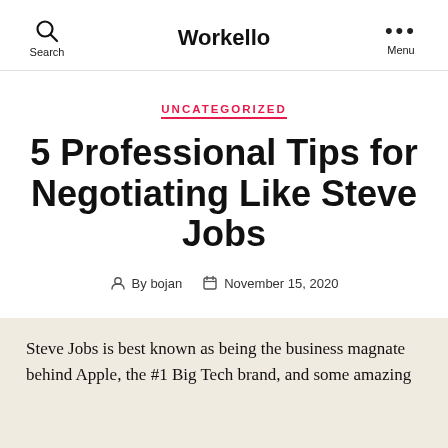Search  Workello  Menu
UNCATEGORIZED
5 Professional Tips for Negotiating Like Steve Jobs
By bojan  November 15, 2020
Steve Jobs is best known as being the business magnate behind Apple, the #1 Big Tech brand, and some amazing